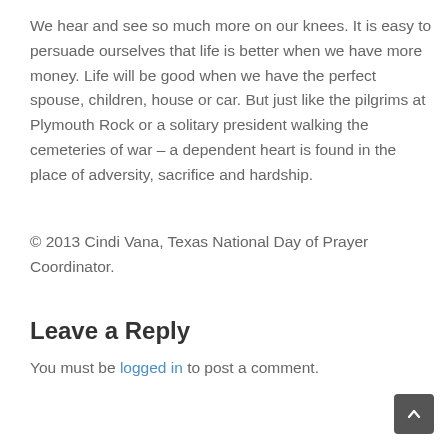We hear and see so much more on our knees. It is easy to persuade ourselves that life is better when we have more money. Life will be good when we have the perfect spouse, children, house or car. But just like the pilgrims at Plymouth Rock or a solitary president walking the cemeteries of war – a dependent heart is found in the place of adversity, sacrifice and hardship.
© 2013 Cindi Vana, Texas National Day of Prayer Coordinator.
Leave a Reply
You must be logged in to post a comment.